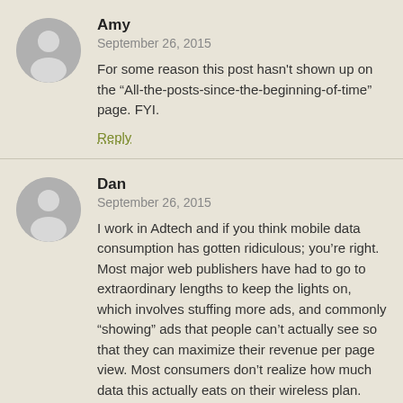Amy
September 26, 2015
For some reason this post hasn't shown up on the “All-the-posts-since-the-beginning-of-time” page. FYI.
Reply
Dan
September 26, 2015
I work in Adtech and if you think mobile data consumption has gotten ridiculous; you’re right. Most major web publishers have had to go to extraordinary lengths to keep the lights on, which involves stuffing more ads, and commonly “showing” ads that people can’t actually see so that they can maximize their revenue per page view. Most consumers don’t realize how much data this actually eats on their wireless plan.
I recommend using the google browser caching feature and using an ad blocker to see how much data it actually takes to get by on a monthly basis. You’ll be shocked at how little data you actually need to browse the web when all the tracking and advertising targeting features are